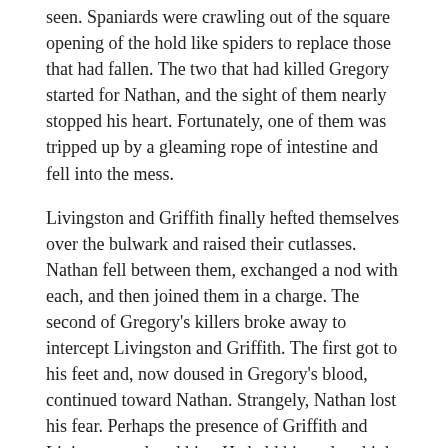seen. Spaniards were crawling out of the square opening of the hold like spiders to replace those that had fallen. The two that had killed Gregory started for Nathan, and the sight of them nearly stopped his heart. Fortunately, one of them was tripped up by a gleaming rope of intestine and fell into the mess.
Livingston and Griffith finally hefted themselves over the bulwark and raised their cutlasses. Nathan fell between them, exchanged a nod with each, and then joined them in a charge. The second of Gregory's killers broke away to intercept Livingston and Griffith. The first got to his feet and, now doused in Gregory's blood, continued toward Nathan. Strangely, Nathan lost his fear. Perhaps the presence of Griffith and Livingston calmed him. He held his cutlass high above his head and bellowed a war cry at the top of his lungs. The Spaniard skidded to a halt, but his feet were too far ahead of his body and he fell flat on his ass. Nathan got on top of him, placed a foot on his belly, and plunged his cutlass into the man's left eye socket.
This entry was posted in General. Bookmark the permalink.